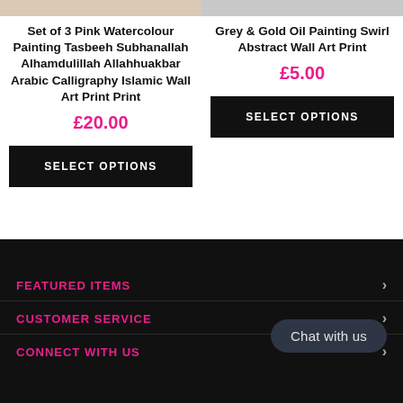Set of 3 Pink Watercolour Painting Tasbeeh Subhanallah Alhamdulillah Allahhuakbar Arabic Calligraphy Islamic Wall Art Print Print
£20.00
SELECT OPTIONS
Grey & Gold Oil Painting Swirl Abstract Wall Art Print
£5.00
SELECT OPTIONS
FEATURED ITEMS
CUSTOMER SERVICE
CONNECT WITH US
Chat with us